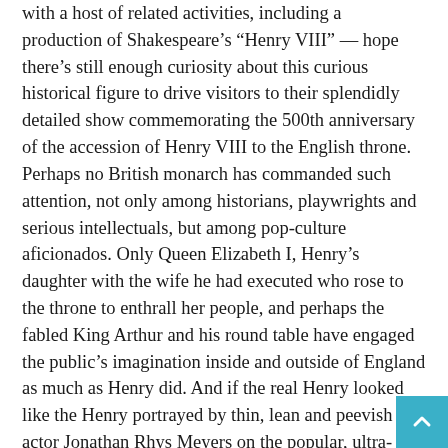with a host of related activities, including a production of Shakespeare's “Henry VIII” — hope there’s still enough curiosity about this curious historical figure to drive visitors to their splendidly detailed show commemorating the 500th anniversary of the accession of Henry VIII to the English throne. Perhaps no British monarch has commanded such attention, not only among historians, playwrights and serious intellectuals, but among pop-culture aficionados. Only Queen Elizabeth I, Henry’s daughter with the wife he had executed who rose to the throne to enthrall her people, and perhaps the fabled King Arthur and his round table have engaged the public’s imagination inside and outside of England as much as Henry did. And if the real Henry looked like the Henry portrayed by thin, lean and peevish actor Jonathan Rhys Meyers on the popular, ultra-sexy, ultra-violent cable TV series “The Tudors,” he would’ve had yet another reason to strut across the world’s imagination and add that exclamation point to “Vivat Rex!” That weight-watchers portrait of Henry